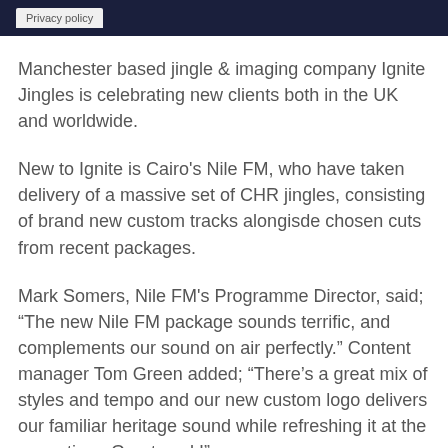Privacy policy
Manchester based jingle & imaging company Ignite Jingles is celebrating new clients both in the UK and worldwide.
New to Ignite is Cairo's Nile FM, who have taken delivery of a massive set of CHR jingles, consisting of brand new custom tracks alongisde chosen cuts from recent packages.
Mark Somers, Nile FM's Programme Director, said; “The new Nile FM package sounds terrific, and complements our sound on air perfectly.” Content manager Tom Green added; “There’s a great mix of styles and tempo and our new custom logo delivers our familiar heritage sound while refreshing it at the same time. Great work!”